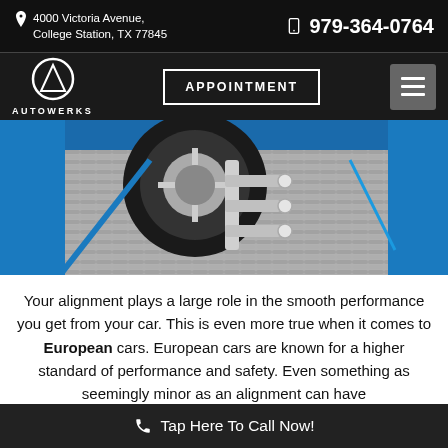4000 Victoria Avenue, College Station, TX 77845 | 979-364-0764
[Figure (logo): Autowerks logo — triangle icon in circle with AUTOWERKS text below]
APPOINTMENT
[Figure (photo): Close-up photo of a car tire on a blue alignment machine with metal checker-plate surface]
Your alignment plays a large role in the smooth performance you get from your car. This is even more true when it comes to European cars. European cars are known for a higher standard of performance and safety. Even something as seemingly minor as an alignment can have
Tap Here To Call Now!